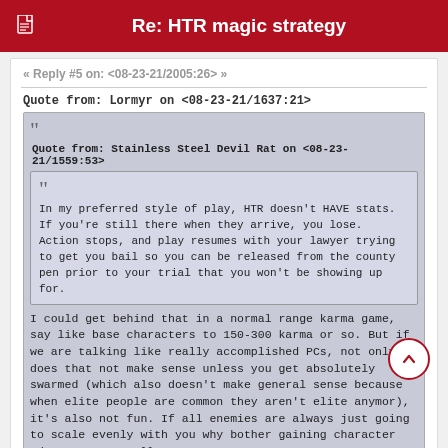Re: HTR magic strategy
« Reply #5 on: <08-23-21/2005:26> »
Quote from: Lormyr on <08-23-21/1637:21>
Quote from: Stainless Steel Devil Rat on <08-23-21/1559:53>
In my preferred style of play, HTR doesn't HAVE stats.  If you're still there when they arrive, you lose.  Action stops, and play resumes with your lawyer trying to get you bail so you can be released from the county pen prior to your trial that you won't be showing up for.
I could get behind that in a normal range karma game, say like base characters to 150-300 karma or so. But if we are talking like really accomplished PCs, not only does that not make sense unless you get absolutely swarmed (which also doesn't make general sense because when elite people are common they aren't elite anymor), it's also not fun. If all enemies are always just going to scale evenly with you why bother gaining character advancement at all?
Its the perspective here that matters.  Yea a team of